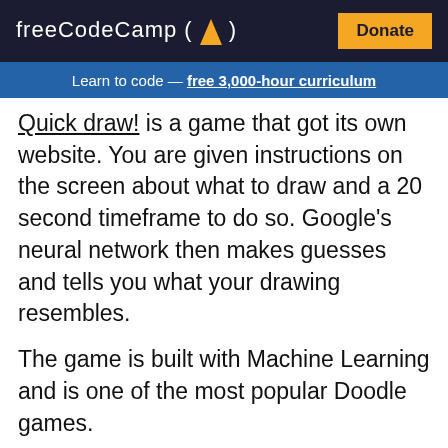freeCodeCamp (flame icon)  Donate
Learn to code — free 3,000-hour curriculum
Quick draw! is a game that got its own website. You are given instructions on the screen about what to draw and a 20 second timeframe to do so. Google's neural network then makes guesses and tells you what your drawing resembles.

The game is built with Machine Learning and is one of the most popular Doodle games.
[Figure (illustration): Quick, Draw! game logo with a ribbon banner and a pointing hand with small doodles around it]